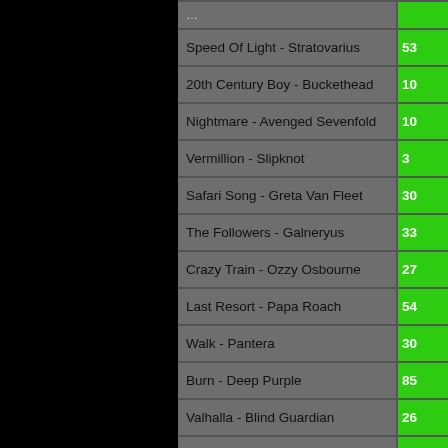| Song | Number |
| --- | --- |
| Speed Of Light - Stratovarius | 53 |
| 20th Century Boy - Buckethead | 10 |
| Nightmare - Avenged Sevenfold | 10 |
| Vermillion - Slipknot | 3 |
| Safari Song - Greta Van Fleet | 30 |
| The Followers - Galneryus | 33 |
| Crazy Train - Ozzy Osbourne | 27 |
| Last Resort - Papa Roach | 54 |
| Walk - Pantera | 30 |
| Burn - Deep Purple | 85 |
| Valhalla - Blind Guardian | 26 |
| Starve - Black Fast | 5 |
| San Sebastian - Sonata Arctica | 63 |
| Revolution Deathsquad - DragonForce | 9 |
| Reapers - Muse | 1 |